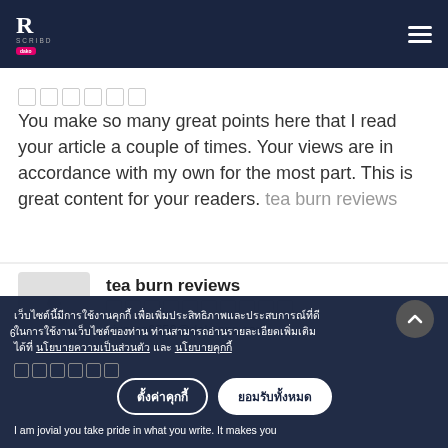Scribd logo and hamburger menu
[Figure (other): Six small square rating boxes (star rating placeholder)]
You make so many great points here that I read your article a couple of times. Your views are in accordance with my own for the most part. This is great content for your readers. tea burn reviews
tea burn reviews
piyema6356@dakcans.com
เว็บไซต์นี้มีการใช้งานคุกกี้ เพื่อเพิ่มประสิทธิภาพและประสบการณ์ที่ดีในการใช้งานเว็บไซต์ของท่าน ท่านสามารถอ่านรายละเอียดเพิ่มเติมได้ที่ นโยบายความเป็นส่วนตัว และ นโยบายคุกกี้
I am jovial you take pride in what you write. It makes you